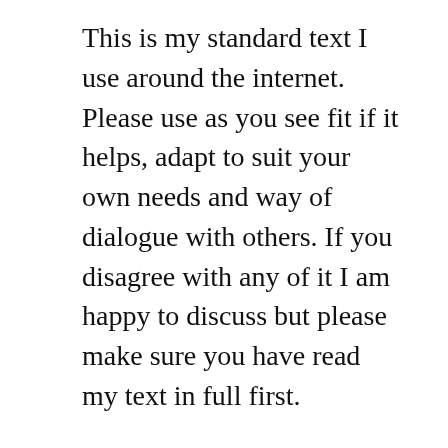This is my standard text I use around the internet. Please use as you see fit if it helps, adapt to suit your own needs and way of dialogue with others. If you disagree with any of it I am happy to discuss but please make sure you have read my text in full first.
If you do use it and refer to me, please make sure you do not misquote me or take me out of context.
As a Chartered Building Surveyor in the UK with a broad knowledge of many subjects in science and language I have been well placed and trained to set out the case that the world has been deceived over many decades as to the